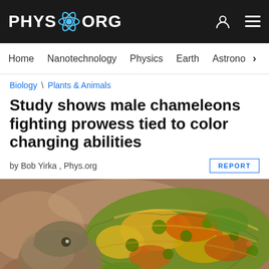PHYS ORG
Home | Nanotechnology | Physics | Earth | Astronomy >
Biology \ Plants & Animals
Study shows male chameleons fighting prowess tied to color changing abilities
by Bob Yirka , Phys.org
[Figure (photo): Close-up photograph of a veiled chameleon displaying vivid color-changed scales in green, yellow, orange, and red patterns against a brown rocky background]